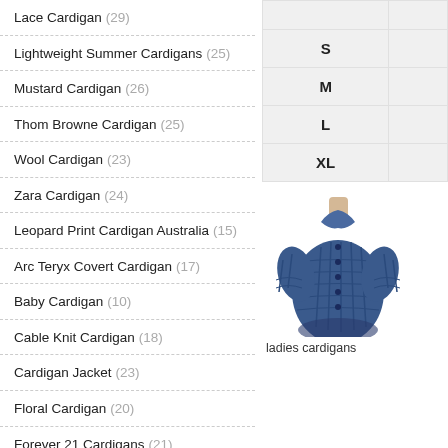Lace Cardigan (29)
Lightweight Summer Cardigans (25)
Mustard Cardigan (26)
Thom Browne Cardigan (25)
Wool Cardigan (23)
Zara Cardigan (24)
Leopard Print Cardigan Australia (15)
Arc Teryx Covert Cardigan (17)
Baby Cardigan (10)
Cable Knit Cardigan (18)
Cardigan Jacket (23)
Floral Cardigan (20)
Forever 21 Cardigans (21)
Joe Fresh Cardigan (14)
Kimono Cardigan Canada (19)
Long Cardigan Outfit (4)
| Size |  |
| --- | --- |
|  |  |
| S |  |
| M |  |
| L |  |
| XL |  |
[Figure (photo): Blue cable knit ladies cardigan on mannequin]
ladies cardigans